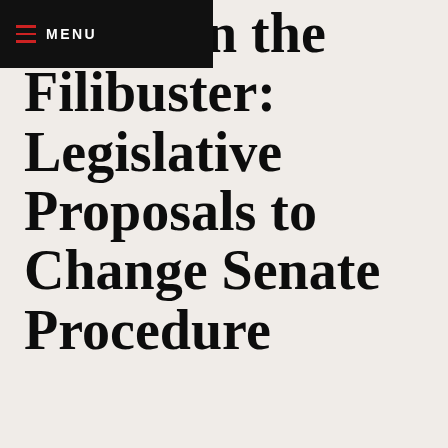MENU
rziani on the Filibuster: Legislative Proposals to Change Senate Procedure
[Figure (infographic): Social sharing buttons: Facebook icon, Twitter icon, Share icon, arranged in a horizontal bordered row]
In this testimony presented before the U.S. Senate Committee on Rules and Administration, Mimi Marziani gives the